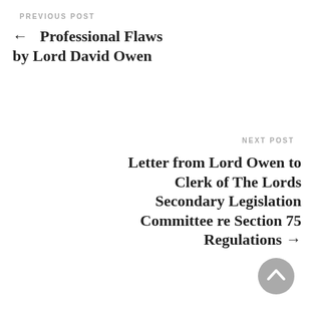PREVIOUS POST
← Professional Flaws by Lord David Owen
NEXT POST
Letter from Lord Owen to Clerk of The Lords Secondary Legislation Committee re Section 75 Regulations →